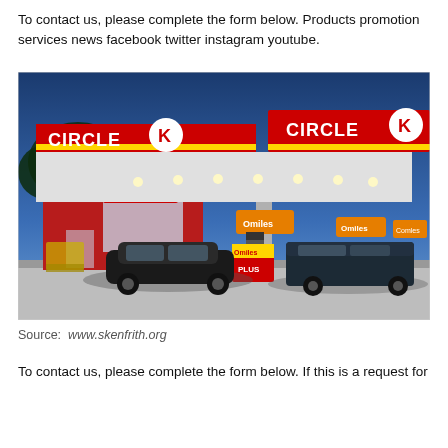To contact us, please complete the form below. Products promotion services news facebook twitter instagram youtube.
[Figure (photo): Circle K gas station at dusk/evening with illuminated canopy. Two Circle K logos visible on the red canopy. Cars at fuel pumps, Omiles and Omiles Plus signage visible. A black SUV and a dark van are parked at the pumps.]
Source: www.skenfrith.org
To contact us, please complete the form below. If this is a request for